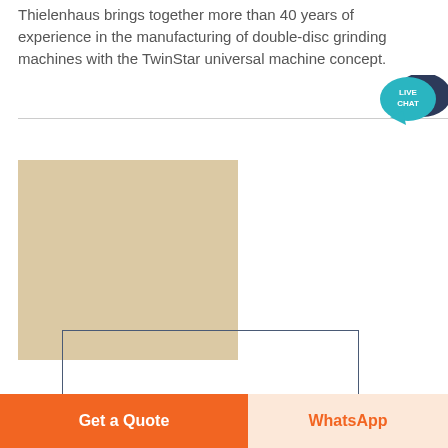Thielenhaus brings together more than 40 years of experience in the manufacturing of double-disc grinding machines with the TwinStar universal machine concept.
[Figure (photo): A large tan/beige colored rectangular area representing a machine image placeholder, with a dark navy outlined rectangle overlapping at the bottom right portion — likely showing a double-disc grinding machine or component.]
[Figure (illustration): Live Chat bubble icon — a teal speech bubble with 'LIVE CHAT' text in white, with a darker navy speech bubble behind it.]
Get a Quote
WhatsApp